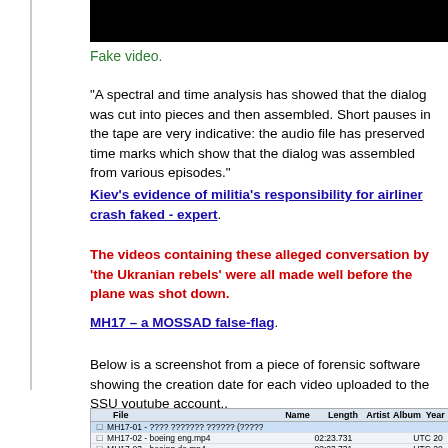[Figure (photo): Black bar/video thumbnail at top]
Fake video.
"A spectral and time analysis has showed that the dialog was cut into pieces and then assembled. Short pauses in the tape are very indicative: the audio file has preserved time marks which show that the dialog was assembled from various episodes."
Kiev's evidence of militia's responsibility for airliner crash faked - expert.
The videos containing these alleged conversation by 'the Ukranian rebels' were all made well before the plane was shot down.
MH17 – a MOSSAD false-flag.
Below is a screenshot from a piece of forensic software showing the creation date for each video uploaded to the SSU youtube account..
[Figure (screenshot): Screenshot of forensic software showing file listing with MH17 video files: MH17-01, MH17-02 boeing eng.mp4, MH17-03 boeing de.mp4, MH17-04 boeing fr.mp4, MH17-05 boeing pl.mp4, MH17-06 with length 02:23.731 and year UTC 20...]